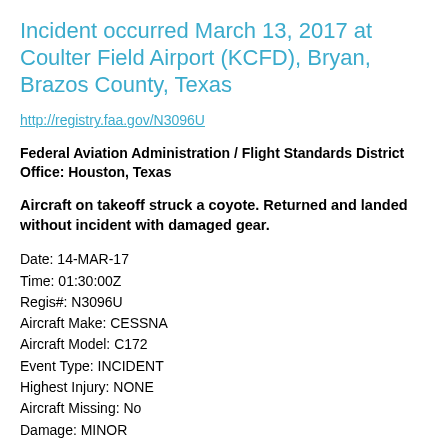Incident occurred March 13, 2017 at Coulter Field Airport (KCFD), Bryan, Brazos County, Texas
http://registry.faa.gov/N3096U
Federal Aviation Administration / Flight Standards District Office: Houston, Texas
Aircraft on takeoff struck a coyote. Returned and landed without incident with damaged gear.
Date: 14-MAR-17
Time: 01:30:00Z
Regis#: N3096U
Aircraft Make: CESSNA
Aircraft Model: C172
Event Type: INCIDENT
Highest Injury: NONE
Aircraft Missing: No
Damage: MINOR